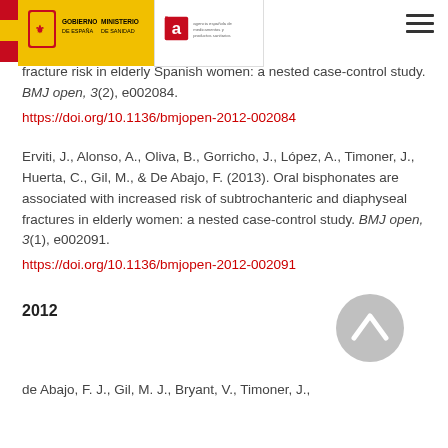Government logo: GOBIERNO DE ESPAÑA / MINISTERIO DE SANIDAD / Agencia española de medicamentos y productos sanitarios (AEMPS). Hamburger menu icon.
fracture risk in elderly Spanish women: a nested case-control study. BMJ open, 3(2), e002084. https://doi.org/10.1136/bmjopen-2012-002084
Erviti, J., Alonso, A., Oliva, B., Gorricho, J., López, A., Timoner, J., Huerta, C., Gil, M., & De Abajo, F. (2013). Oral bisphonates are associated with increased risk of subtrochanteric and diaphyseal fractures in elderly women: a nested case-control study. BMJ open, 3(1), e002091. https://doi.org/10.1136/bmjopen-2012-002091
2012
[Figure (other): Gray circular button with upward-pointing chevron/caret arrow icon (scroll-to-top button)]
de Abajo, F. J., Gil, M. J., Bryant, V., Timoner, J.,